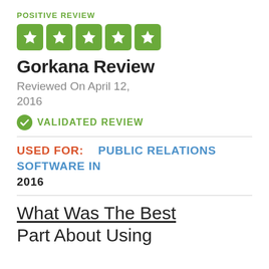POSITIVE REVIEW
[Figure (illustration): Five green star rating boxes in a row]
Gorkana Review
Reviewed On April 12, 2016
VALIDATED REVIEW
USED FOR:   PUBLIC RELATIONS SOFTWARE IN 2016
What Was The Best Part About Using